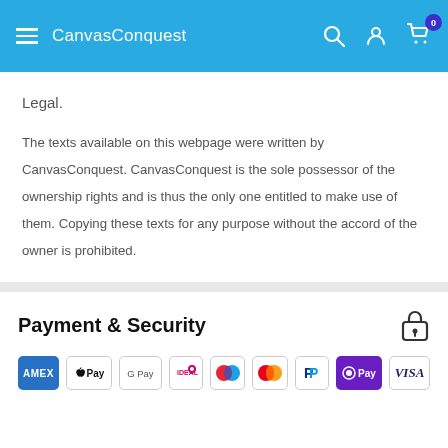CanvasConquest
Legal.
The texts available on this webpage were written by CanvasConquest. CanvasConquest is the sole possessor of the ownership rights and is thus the only one entitled to make use of them. Copying these texts for any purpose without the accord of the owner is prohibited.
Payment & Security
[Figure (logo): Payment method icons: American Express, Apple Pay, Google Pay, iDEAL, Maestro, Mastercard, PayPal, OPay, Visa]